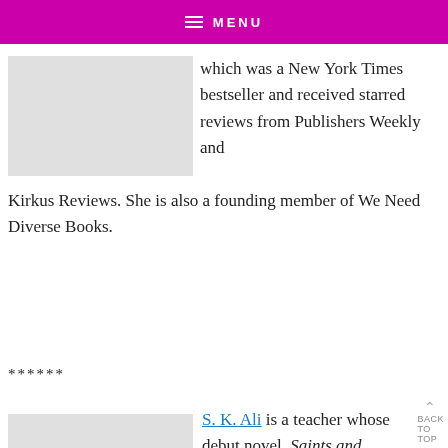MENU
which was a New York Times bestseller and received starred reviews from Publishers Weekly and Kirkus Reviews. She is also a founding member of We Need Diverse Books.
******
[Figure (photo): Partial author photo placeholder]
S. K. Ali is a teacher whose debut novel, Saints and Misfits, was a Morris finalist, an Entertainment Weekly